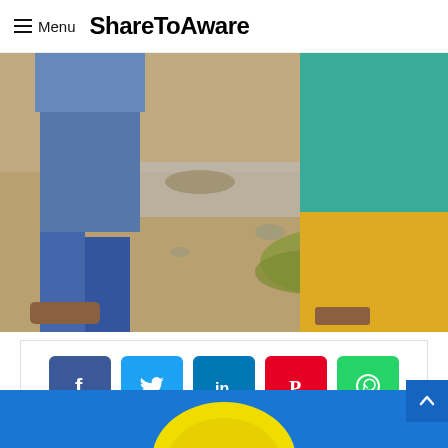Menu  ShareToAware
[Figure (photo): Lower bodies of two people standing outdoors on sandy/dirt ground with some grass. Left person wearing jeans and sandals, right person wearing teal/turquoise top with yellow/orange pants and sandals.]
[Figure (infographic): Social media share buttons: Facebook (blue), Twitter (light blue), LinkedIn (blue), Pinterest (red), WhatsApp (green)]
[Figure (logo): Partial circular logo with yellow dome shape at the bottom of the page on a blue background]